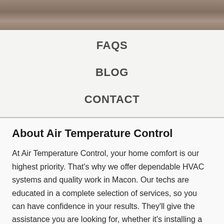[Figure (photo): Photograph banner of residential homes/buildings, partially visible at the top of the page]
FAQS
BLOG
CONTACT
About Air Temperature Control
At Air Temperature Control, your home comfort is our highest priority. That's why we offer dependable HVAC systems and quality work in Macon. Our techs are educated in a complete selection of services, so you can have confidence in your results. They'll give the assistance you are looking for, whether it's installing a modern HVAC system or servicing and